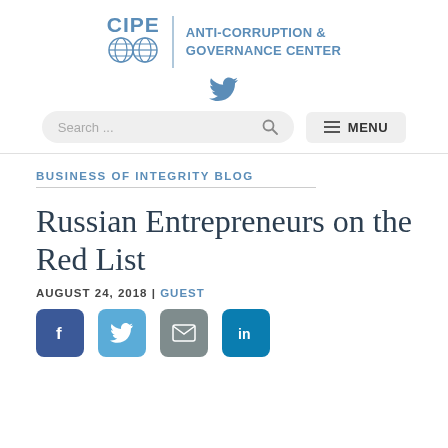CIPE | ANTI-CORRUPTION & GOVERNANCE CENTER
BUSINESS OF INTEGRITY BLOG
Russian Entrepreneurs on the Red List
AUGUST 24, 2018 | GUEST
[Figure (other): Social sharing icons: Facebook, Twitter, Email, LinkedIn]